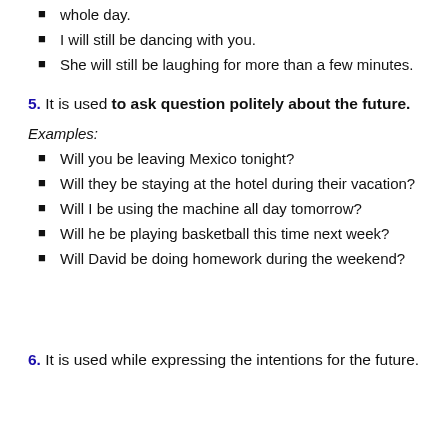whole day.
I will still be dancing with you.
She will still be laughing for more than a few minutes.
5. It is used to ask question politely about the future.
Examples:
Will you be leaving Mexico tonight?
Will they be staying at the hotel during their vacation?
Will I be using the machine all day tomorrow?
Will he be playing basketball this time next week?
Will David be doing homework during the weekend?
6. It is used while expressing the intentions for the future.